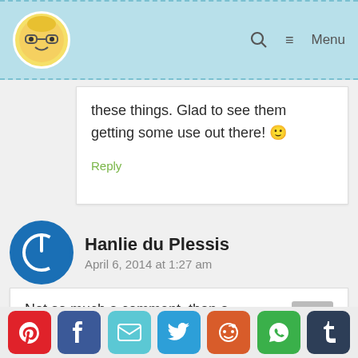Blog site header with avatar logo, search icon, and Menu
these things. Glad to see them getting some use out there! 🙂
Reply
Hanlie du Plessis
April 6, 2014 at 1:27 am
Not so much a comment, than a
[Figure (infographic): Social sharing buttons: Pinterest, Facebook, Email, Twitter, Reddit, WhatsApp, Tumblr]